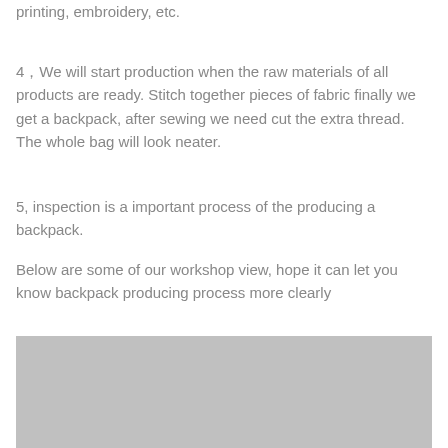printing, embroidery, etc.
4，We will start production when the raw materials of all products are ready. Stitch together pieces of fabric finally we get a backpack, after sewing we need cut the extra thread. The whole bag will look neater.
5, inspection is a important process of the producing a backpack.
Below are some of our workshop view, hope it can let you know backpack producing process more clearly
[Figure (photo): Workshop view photo showing backpack production process, displayed as a gray placeholder image.]